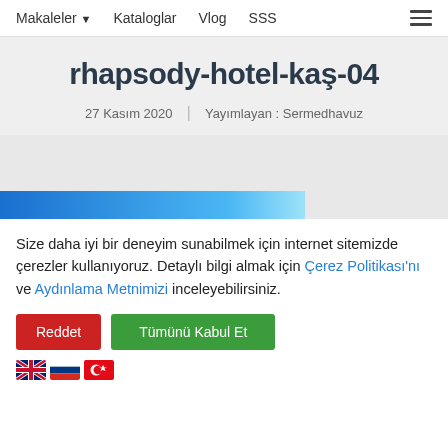Makaleler ▾   Kataloglar   Vlog   SSS
rhapsody-hotel-kaş-04
27 Kasım 2020  |  Yayımlayan : Sermedhavuz
[Figure (other): Blue gradient horizontal bar, part of an image placeholder or progress bar]
Size daha iyi bir deneyim sunabilmek için internet sitemizde çerezler kullanıyoruz. Detaylı bilgi almak için Çerez Politikası'nı ve Aydınlama Metnimizi inceleyebilirsiniz.
Reddet   Tümünü Kabul Et
[Figure (other): Language selection flags: UK flag (English), Russian flag, Turkish flag]